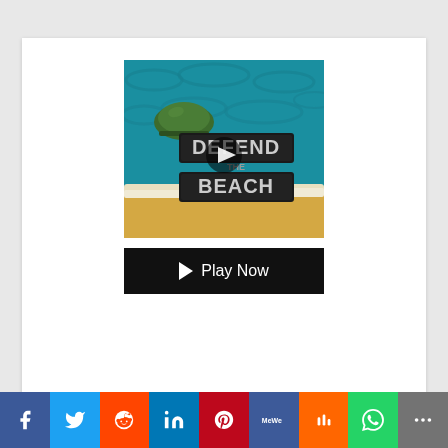[Figure (screenshot): Defend the Beach game thumbnail: ocean water background with a military helmet, text reading DEFEND THE BEACH in metallic block letters, play button overlay in center, sandy beach at bottom]
[Figure (screenshot): Play Now button bar - black background with white play triangle and text 'Play Now']
[Figure (infographic): Social sharing bar with icons: Facebook (blue), Twitter (light blue), Reddit (orange), LinkedIn (dark blue), Pinterest (red), MeWe (dark blue), Mix (orange), WhatsApp (green), More (gray)]